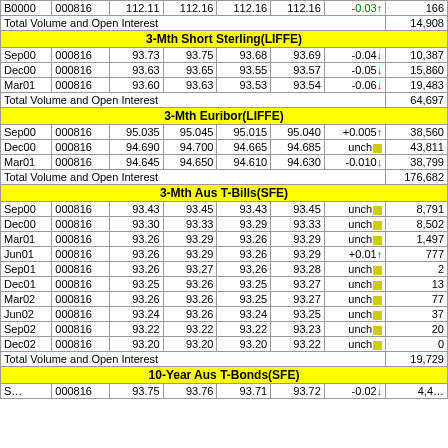| Month | Date | Open | High | Low | Settle | Chg | Vol/OI |
| --- | --- | --- | --- | --- | --- | --- | --- |
|  |  |  |  |  |  | Total Volume and Open Interest | 14,908 |
| 3-Mth Short Sterling(LIFFE) |  |  |  |  |  |  |  |
| Sep00 | 000816 | 93.73 | 93.75 | 93.68 | 93.69 | -0.04↓ | 10,387 |
| Dec00 | 000816 | 93.63 | 93.65 | 93.55 | 93.57 | -0.05↓ | 15,860 |
| Mar01 | 000816 | 93.60 | 93.63 | 93.53 | 93.54 | -0.06↓ | 19,483 |
|  |  |  |  |  |  | Total Volume and Open Interest | 64,697 |
| 3-Mth Euribor(LIFFE) |  |  |  |  |  |  |  |
| Sep00 | 000816 | 95.035 | 95.045 | 95.015 | 95.040 | +0.005↑ | 38,560 |
| Dec00 | 000816 | 94.690 | 94.700 | 94.665 | 94.685 | unch | 43,811 |
| Mar01 | 000816 | 94.645 | 94.650 | 94.610 | 94.630 | -0.010↓ | 38,799 |
|  |  |  |  |  |  | Total Volume and Open Interest | 176,682 |
| 3-Mth Aus T-Bills(SFE) |  |  |  |  |  |  |  |
| Sep00 | 000816 | 93.43 | 93.45 | 93.43 | 93.45 | unch | 8,791 |
| Dec00 | 000816 | 93.30 | 93.33 | 93.29 | 93.33 | unch | 8,502 |
| Mar01 | 000816 | 93.26 | 93.29 | 93.26 | 93.29 | unch | 1,497 |
| Jun01 | 000816 | 93.26 | 93.29 | 93.26 | 93.29 | +0.01↑ | 777 |
| Sep01 | 000816 | 93.26 | 93.27 | 93.26 | 93.28 | unch | 2 |
| Dec01 | 000816 | 93.25 | 93.26 | 93.25 | 93.27 | unch | 13 |
| Mar02 | 000816 | 93.26 | 93.26 | 93.25 | 93.27 | unch | 77 |
| Jun02 | 000816 | 93.24 | 93.26 | 93.24 | 93.25 | unch | 37 |
| Sep02 | 000816 | 93.22 | 93.22 | 93.22 | 93.23 | unch | 20 |
| Dec02 | 000816 | 93.20 | 93.20 | 93.20 | 93.22 | unch | 0 |
|  |  |  |  |  |  | Total Volume and Open Interest | 19,729 |
| 10-Year Aus T-Bonds(SFE) |  |  |  |  |  |  |  |